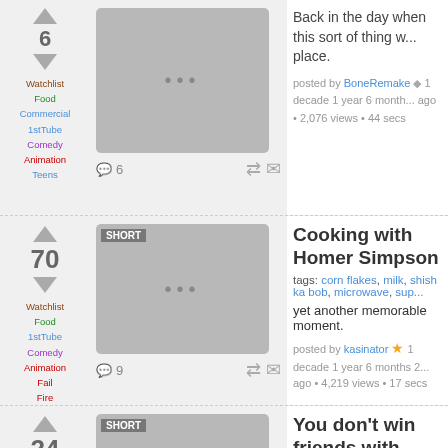Back in the day when this sort of thing was taking place.
posted by BoneRemake 1 decade 1 year 6 months ago • 2,076 views • 44 secs
6 comments
Cooking with Homer Simpson
tags: corn flakes, milk, shish ka bob, microwave, supe...
yet another memorable moment.
posted by kasinator ★ 1 decade 1 year 6 months 2... ago • 4,219 views • 17 secs
9 comments
You don't win friends with Salad
tags: simpsons, bart, homer simpson, salad, vegetari...
posted by mas8705 ◆ 1 decade 1 year 8 months 2... ago • 1,194 views • 21 secs
1 comment